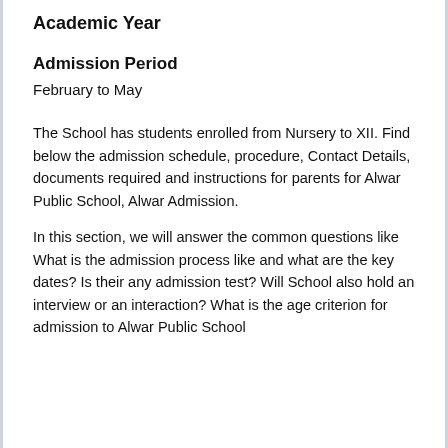Academic Year
Admission Period
February to May
The School has students enrolled from Nursery to XII. Find below the admission schedule, procedure, Contact Details, documents required and instructions for parents for Alwar Public School, Alwar Admission.
In this section, we will answer the common questions like What is the admission process like and what are the key dates? Is their any admission test? Will School also hold an interview or an interaction? What is the age criterion for admission to Alwar Public School